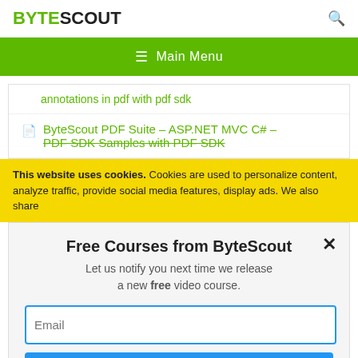BYTESCOUT
≡  Main Menu
annotations in pdf with pdf sdk
ByteScout PDF Suite – ASP.NET MVC C# – PDF SDK Samples with PDF SDK
This website uses cookies. Cookies are used to personalize content, analyze traffic, provide social media features, display ads. We also share
Free Courses from ByteScout
Let us notify you next time we release a new free video course.
Email
SUBSCRIBE